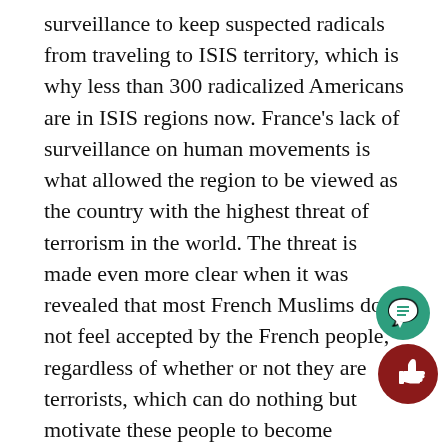surveillance to keep suspected radicals from traveling to ISIS territory, which is why less than 300 radicalized Americans are in ISIS regions now. France's lack of surveillance on human movements is what allowed the region to be viewed as the country with the highest threat of terrorism in the world. The threat is made even more clear when it was revealed that most French Muslims do not feel accepted by the French people, regardless of whether or not they are terrorists, which can do nothing but motivate these people to become terrorists themselves with assistance from a group like ISIS. The French feel that they dug themselves into a hole that they themselves will have to find a way to get out of.
The vast majority of the Middle East, and Muslim nations in general, feel that ISIS does not at all repre[sent] what they think the religion should be based upon. L[...]
[Figure (illustration): Green circular comment/speech bubble icon button]
[Figure (illustration): Dark red circular thumbs-up like icon button]